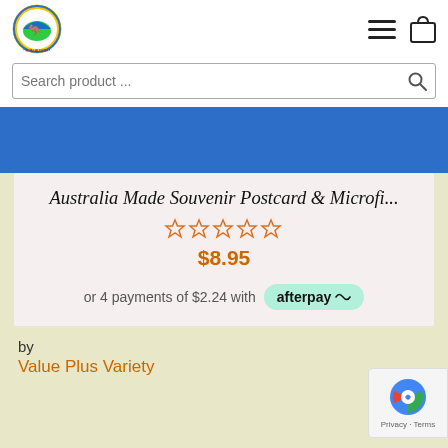[Figure (logo): Made in Australia circular logo with kangaroo]
[Figure (infographic): Hamburger menu icon and shopping bag icon in header]
Search product ...
[Figure (illustration): Blue banner/band at top of product card]
Australia Made Souvenir Postcard & Microfi...
[Figure (infographic): 5 star rating icons (empty/outline stars)]
$8.95
or 4 payments of $2.24 with afterpay
by
Value Plus Variety
[Figure (logo): reCAPTCHA badge with Privacy and Terms links]